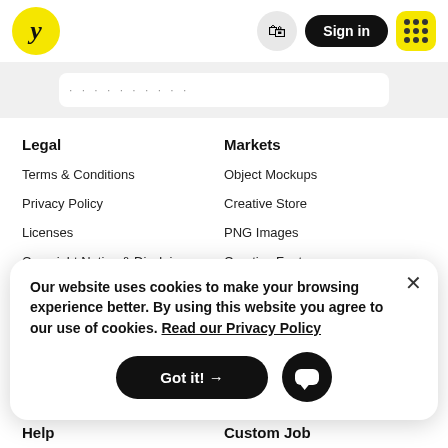y | Sign in | [grid]
Legal
Terms & Conditions
Privacy Policy
Licenses
Copyright Notice & Disclaimer
Markets
Object Mockups
Creative Store
PNG Images
Creative Fonts
Our website uses cookies to make your browsing experience better. By using this website you agree to our use of cookies. Read our Privacy Policy
Got it! →
Help
Custom Job